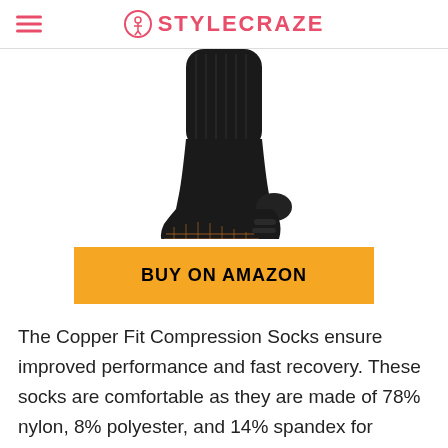STYLECRAZE
[Figure (photo): Black compression socks worn on a foot/leg, shown from the side, with textured sole visible]
BUY ON AMAZON
The Copper Fit Compression Socks ensure improved performance and fast recovery. These socks are comfortable as they are made of 78% nylon, 8% polyester, and 14% spandex for